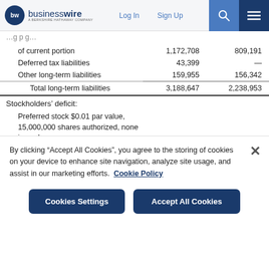businesswire — A BERKSHIRE HATHAWAY COMPANY | Log In | Sign Up
|  | Col1 | Col2 |
| --- | --- | --- |
| of current portion | 1,172,708 | 809,191 |
| Deferred tax liabilities | 43,399 | — |
| Other long-term liabilities | 159,955 | 156,342 |
| Total long-term liabilities | 3,188,647 | 2,238,953 |
| Stockholders' deficit: |  |  |
| Preferred stock $0.01 par value, 15,000,000 shares authorized, none issued | — | — |
| Common stock $0.01 par value, 175,000,000 shares authorized, |  |  |
By clicking “Accept All Cookies”, you agree to the storing of cookies on your device to enhance site navigation, analyze site usage, and assist in our marketing efforts.  Cookie Policy
Cookies Settings | Accept All Cookies